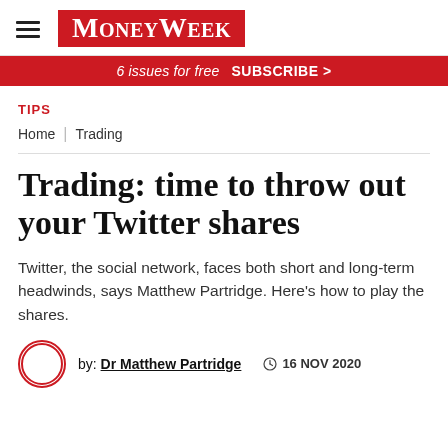MoneyWeek
6 issues for free  SUBSCRIBE >
TIPS
Home | Trading
Trading: time to throw out your Twitter shares
Twitter, the social network, faces both short and long-term headwinds, says Matthew Partridge. Here's how to play the shares.
by: Dr Matthew Partridge  16 NOV 2020